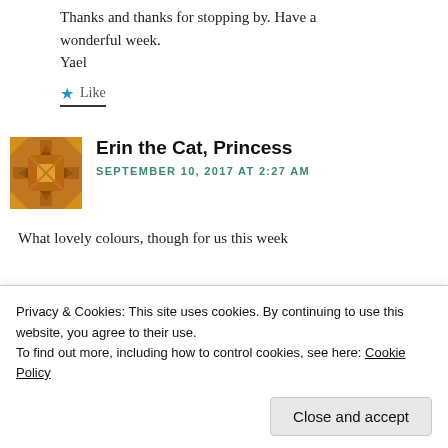Thanks and thanks for stopping by. Have a wonderful week.
Yael
★ Like
Erin the Cat, Princess
SEPTEMBER 10, 2017 AT 2:27 AM
What lovely colours, though for us this week
Privacy & Cookies: This site uses cookies. By continuing to use this website, you agree to their use.
To find out more, including how to control cookies, see here: Cookie Policy
Close and accept